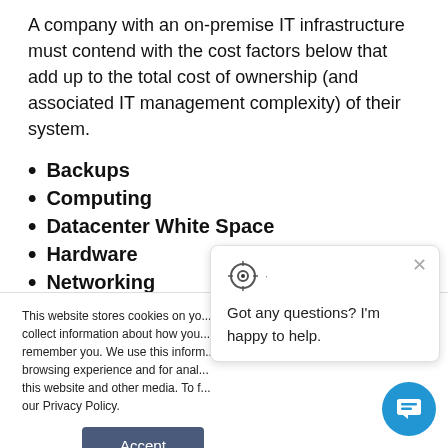A company with an on-premise IT infrastructure must contend with the cost factors below that add up to the total cost of ownership (and associated IT management complexity) of their system.
Backups
Computing
Datacenter White Space
Hardware
Networking
This website stores cookies on your computer to collect information about how you remember you. We use this information browsing experience and for analytics this website and other media. To find our Privacy Policy.
[Figure (screenshot): Chat popup overlay with close button (×) and text 'Got any questions? I'm happy to help.' with a target/crosshair icon, and a blue circular chat bubble button in the bottom right corner.]